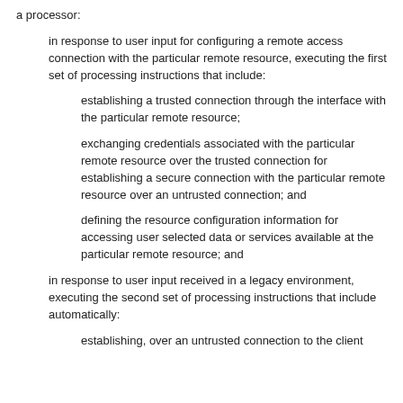a processor:
in response to user input for configuring a remote access connection with the particular remote resource, executing the first set of processing instructions that include:
establishing a trusted connection through the interface with the particular remote resource;
exchanging credentials associated with the particular remote resource over the trusted connection for establishing a secure connection with the particular remote resource over an untrusted connection; and
defining the resource configuration information for accessing user selected data or services available at the particular remote resource; and
in response to user input received in a legacy environment, executing the second set of processing instructions that include automatically:
establishing, over an untrusted connection to the client